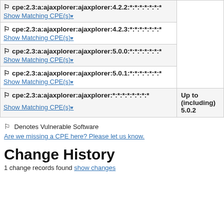| cpe:2.3:a:ajaxplorer:ajaxplorer:4.2.2:*:*:*:*:*:*:* |  |
| Show Matching CPE(s) |  |
| cpe:2.3:a:ajaxplorer:ajaxplorer:4.2.3:*:*:*:*:*:*:* |  |
| Show Matching CPE(s) |  |
| cpe:2.3:a:ajaxplorer:ajaxplorer:5.0.0:*:*:*:*:*:*:* |  |
| Show Matching CPE(s) |  |
| cpe:2.3:a:ajaxplorer:ajaxplorer:5.0.1:*:*:*:*:*:*:* |  |
| Show Matching CPE(s) |  |
| cpe:2.3:a:ajaxplorer:ajaxplorer:*:*:*:*:*:*:*:* | Up to (including) 5.0.2 |
| Show Matching CPE(s) |  |
Denotes Vulnerable Software
Are we missing a CPE here? Please let us know.
Change History
1 change records found show changes